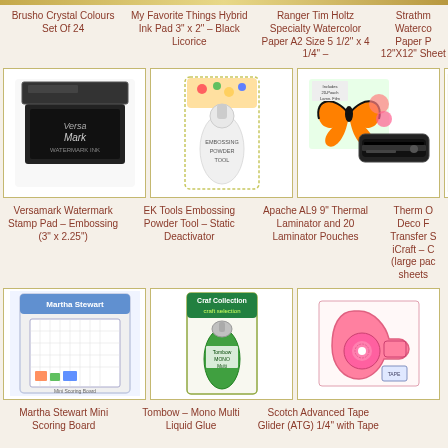[Figure (illustration): Product grid showing craft supplies: ink pads, embossing powder, laminator, scoring board, glue, tape glider, and more]
Brusho Crystal Colours Set Of 24
My Favorite Things Hybrid Ink Pad 3" x 2" – Black Licorice
Ranger Tim Holtz Specialty Watercolor Paper A2 Size 5 1/2" x 4 1/4" –
Strathm Waterco Paper P 12"X12" Sheet
Versamark Watermark Stamp Pad – Embossing (3" x 2.25")
EK Tools Embossing Powder Tool – Static Deactivator
Apache AL9 9" Thermal Laminator and 20 Laminator Pouches
Therm O Deco F Transfer S iCraft – C (large pac sheets
Martha Stewart Mini Scoring Board
Tombow – Mono Multi Liquid Glue
Scotch Advanced Tape Glider (ATG) 1/4" with Tape